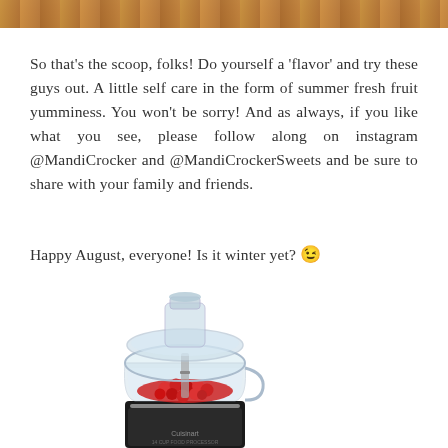[Figure (photo): Top strip of a food/dessert photo, warm orange-brown tones]
So that’s the scoop, folks!  Do yourself a ‘flavor’ and try these guys out.  A little self care in the form of summer fresh fruit yumminess.  You won’t be sorry!  And as always, if you like what you see, please follow along on instagram @MandiCrocker and @MandiCrockerSweets and be sure to share with your family and friends.
Happy August, everyone!  Is it winter yet?  😉
[Figure (photo): Cuisinart food processor with red berries/cherries inside the bowl, stainless steel base]